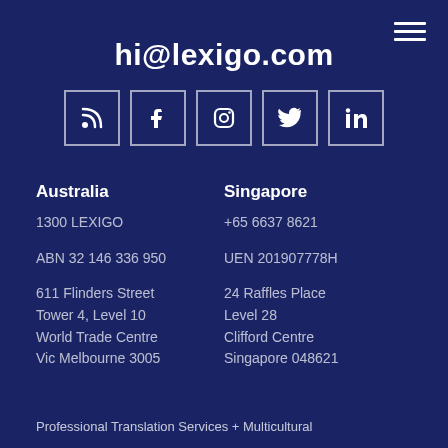hi@lexigo.com
[Figure (infographic): Row of 5 social media icon buttons: RSS feed, Facebook, Instagram, Twitter, LinkedIn — white icons in bordered square boxes on dark blue background]
Australia
1300 LEXIGO
ABN 32 146 336 950
611 Flinders Street
Tower 4, Level 10
World Trade Centre
Vic Melbourne 3005
Singapore
+65 6637 8621
UEN 201907778H
24 Raffles Place
Level 28
Clifford Centre
Singapore 048621
Professional Translation Services + Multicultural